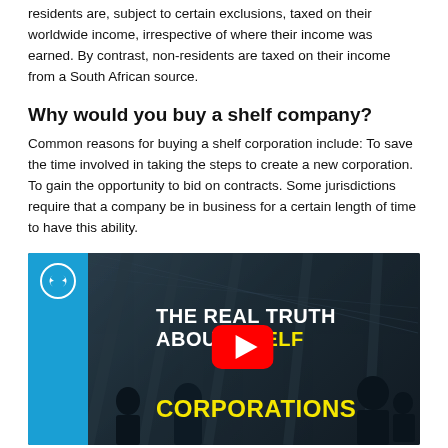residents are, subject to certain exclusions, taxed on their worldwide income, irrespective of where their income was earned. By contrast, non-residents are taxed on their income from a South African source.
Why would you buy a shelf company?
Common reasons for buying a shelf corporation include: To save the time involved in taking the steps to create a new corporation. To gain the opportunity to bid on contracts. Some jurisdictions require that a company be in business for a certain length of time to have this ability.
[Figure (screenshot): YouTube video thumbnail titled 'The Real Truth About Shelf Corporations' showing silhouetted business people in an office, with a red YouTube play button in the center. Blue sidebar on the left with a circular logo.]